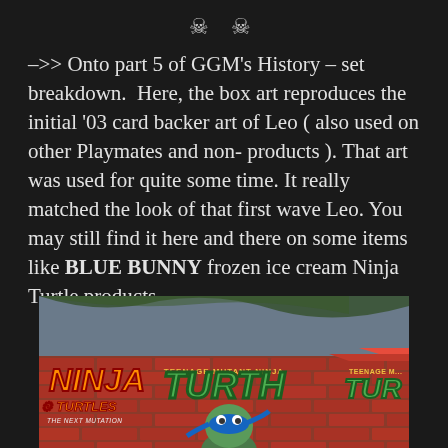☠ ☠
–>> Onto part 5 of GGM's History – set breakdown.  Here, the box art reproduces the initial '03 card backer art of Leo ( also used on other Playmates and non- products ). That art was used for quite some time. It really matched the look of that first wave Leo. You may still find it here and there on some items like BLUE BUNNY frozen ice cream Ninja Turtle products.
[Figure (photo): Photo of Teenage Mutant Ninja Turtles action figure box art showing the TMNT logo on a red brick wall background, with Leonardo figure visible in the center, and the Ninja Turtles: The Next Mutation logo on the left.]